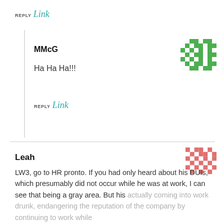REPLY Link
MMcG
Ha Ha Ha!!!
[Figure (illustration): Green pixel/mosaic avatar icon]
REPLY Link
Leah
[Figure (illustration): Pink/salmon pixel/mosaic avatar icon]
LW3, go to HR pronto. If you had only heard about his DUIs, which presumably did not occur while he was at work, I can see that being a gray area. But his actually coming into work drunk, endangering the reputation of the company by continuing to work while